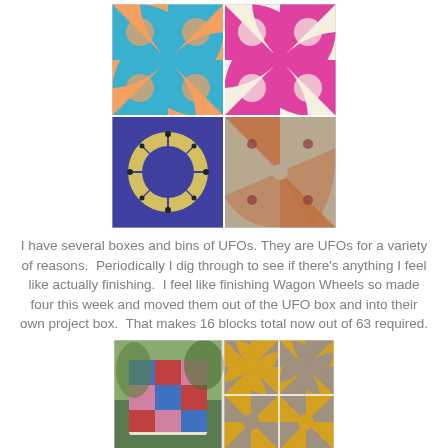[Figure (photo): A quilt with four blocks: top-left has blue and peach/orange pinwheel/wagon wheel pattern, top-right has pink/magenta and cream wagon wheel pattern, bottom-left has purple/violet and yellow plaid double wedding ring or wagon wheel pattern, bottom-right has tan/grey and floral orange wagon wheel pattern.]
I have several boxes and bins of UFOs. They are UFOs for a variety of reasons.  Periodically I dig through to see if there's anything I feel like actually finishing.  I feel like finishing Wagon Wheels so made four this week and moved them out of the UFO box and into their own project box.  That makes 16 blocks total now out of 63 required.
[Figure (photo): Two quilt photos side by side: left shows a quilt with blue, red, and pink blocks laid outdoors on grass; right shows a quilt with large yellow/gold and purple/grey star or wagon wheel blocks.]